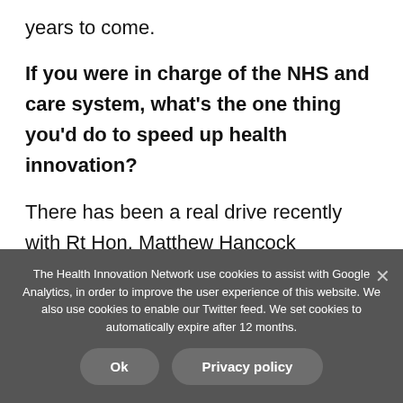years to come.
If you were in charge of the NHS and care system, what's the one thing you'd do to speed up health innovation?
There has been a real drive recently with Rt Hon. Matthew Hancock advocating technology to modernise the NHS.
The Health Innovation Network use cookies to assist with Google Analytics, in order to improve the user experience of this website. We also use cookies to enable our Twitter feed. We set cookies to automatically expire after 12 months.
Ok
Privacy policy